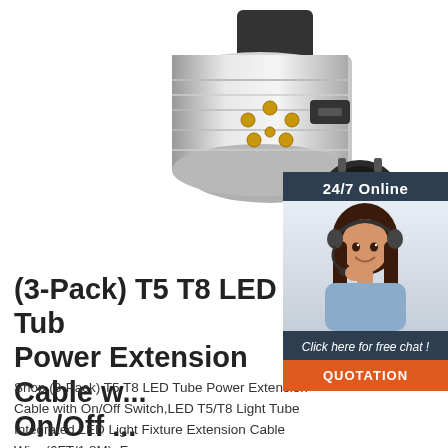[Figure (photo): Product photo: a 7-pin trailer plug connector (silver metal cylindrical body with gold pins) and a round connector socket (black with gold pins), shown on white background]
[Figure (infographic): Chat widget overlay: dark navy background with '24/7 Online' header, photo of smiling woman with headset, 'Click here for free chat!' text, and orange 'QUOTATION' button]
(3-Pack) T5 T8 LED Tub Power Extension Cable with On/Off ...
Shop (3-Pack) T5 T8 LED Tube Power Extension Cable with On/Off Switch,LED T5/T8 Light Tube Integrated LED Light Fixture Extension Cable Wire (6FT/1.8M). Free ...